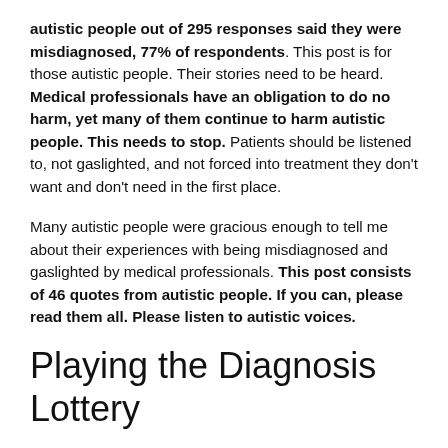autistic people out of 295 responses said they were misdiagnosed, 77% of respondents. This post is for those autistic people. Their stories need to be heard. Medical professionals have an obligation to do no harm, yet many of them continue to harm autistic people. This needs to stop. Patients should be listened to, not gaslighted, and not forced into treatment they don't want and don't need in the first place.
Many autistic people were gracious enough to tell me about their experiences with being misdiagnosed and gaslighted by medical professionals. This post consists of 46 quotes from autistic people. If you can, please read them all. Please listen to autistic voices.
Playing the Diagnosis Lottery